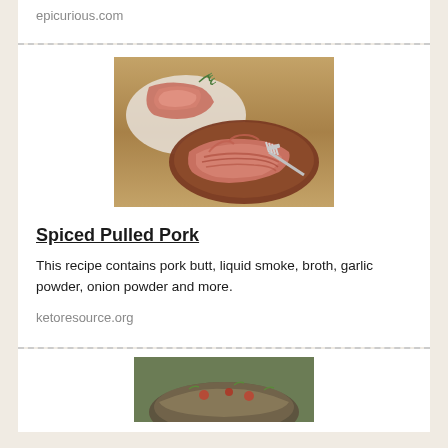epicurious.com
[Figure (photo): Photo of spiced pulled pork on a brown plate with a fork, and more pulled pork on a white plate in the background, garnished with rosemary, on a wooden surface]
Spiced Pulled Pork
This recipe contains pork butt, liquid smoke, broth, garlic powder, onion powder and more.
ketoresource.org
[Figure (photo): Photo of a bowl of food, partially visible at the bottom of the page]